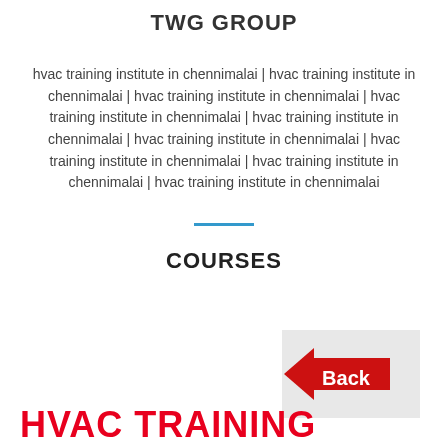TWG GROUP
hvac training institute in chennimalai | hvac training institute in chennimalai | hvac training institute in chennimalai | hvac training institute in chennimalai | hvac training institute in chennimalai | hvac training institute in chennimalai | hvac training institute in chennimalai | hvac training institute in chennimalai | hvac training institute in chennimalai
COURSES
[Figure (illustration): Red arrow pointing left with the word Back, on a light gray background]
HVAC TRAINING